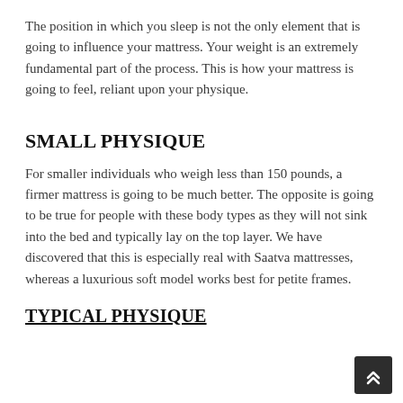The position in which you sleep is not the only element that is going to influence your mattress. Your weight is an extremely fundamental part of the process. This is how your mattress is going to feel, reliant upon your physique.
SMALL PHYSIQUE
For smaller individuals who weigh less than 150 pounds, a firmer mattress is going to be much better. The opposite is going to be true for people with these body types as they will not sink into the bed and typically lay on the top layer. We have discovered that this is especially real with Saatva mattresses, whereas a luxurious soft model works best for petite frames.
TYPICAL PHYSIQUE